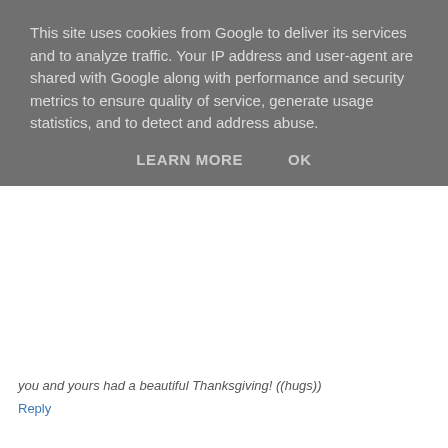This site uses cookies from Google to deliver its services and to analyze traffic. Your IP address and user-agent are shared with Google along with performance and security metrics to ensure quality of service, generate usage statistics, and to detect and address abuse.
LEARN MORE   OK
you and yours had a beautiful Thanksgiving! ((hugs))
Reply
Amy  November 27, 2011 at 9:47 PM
Thank you for all your sweet comments. :) I really appreciate you took the time to visit my blog and left me a message. Hope you all had a wonderful Thanksgiving weekend as well.

Amy
Reply